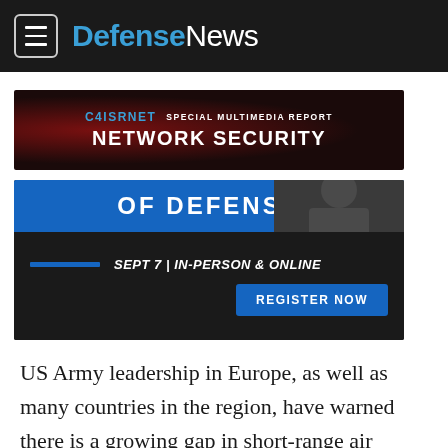Defense News
[Figure (screenshot): C4ISRNET Special Multimedia Report: Network Security advertisement banner with dark red background]
[Figure (screenshot): Event advertisement: OF DEFENSE - Sept 7 | In-Person & Online - Register Now button, dark background with soldier image]
US Army leadership in Europe, as well as many countries in the region, have warned there is a growing gap in short-range air defense.